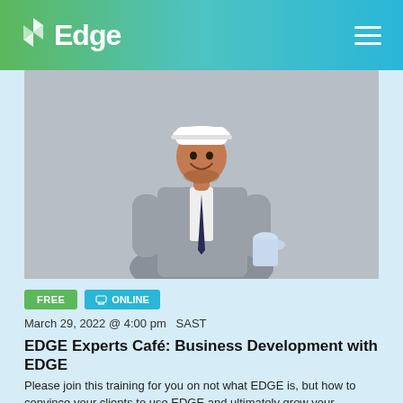Edge
[Figure (photo): A smiling man in a grey suit wearing a white hard hat and holding rolled blueprints, standing against a light grey background]
FREE
ONLINE
March 29, 2022 @ 4:00 pm  SAST
EDGE Experts Café: Business Development with EDGE
Please join this training for you on not what EDGE is, but how to convince your clients to use EDGE and ultimately grow your businesses.